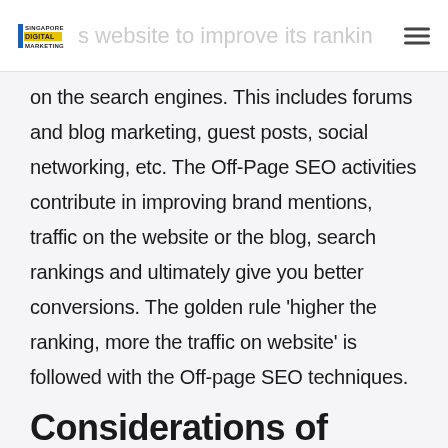Singapore Digital Marketing | website to improve its ranking
on the search engines. This includes forums and blog marketing, guest posts, social networking, etc. The Off-Page SEO activities contribute in improving brand mentions, traffic on the website or the blog, search rankings and ultimately give you better conversions. The golden rule ‘higher the ranking, more the traffic on website’ is followed with the Off-page SEO techniques.
Considerations of